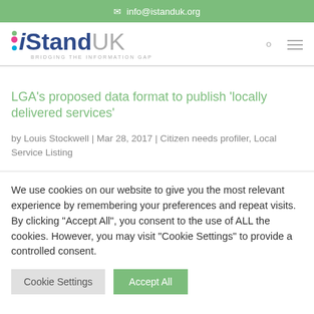info@istanduk.org
[Figure (logo): iStandUK logo with colorful dots and tagline BRIDGING THE INFORMATION GAP]
LGA's proposed data format to publish 'locally delivered services'
by Louis Stockwell | Mar 28, 2017 | Citizen needs profiler, Local Service Listing
We use cookies on our website to give you the most relevant experience by remembering your preferences and repeat visits. By clicking "Accept All", you consent to the use of ALL the cookies. However, you may visit "Cookie Settings" to provide a controlled consent.